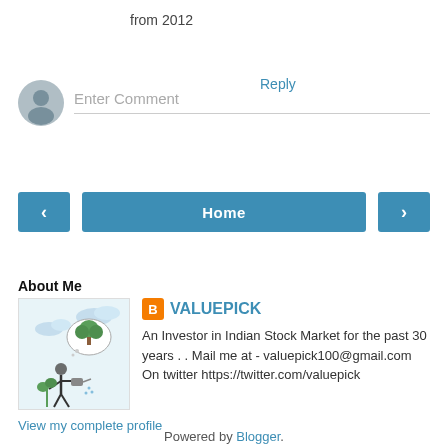from 2012
Reply
Enter Comment
‹
Home
›
View web version
About Me
[Figure (photo): Blogger profile image showing a person watering a plant with thought bubble of a tree]
VALUEPICK
An Investor in Indian Stock Market for the past 30 years . . Mail me at - valuepick100@gmail.com On twitter https://twitter.com/valuepick
View my complete profile
Powered by Blogger.